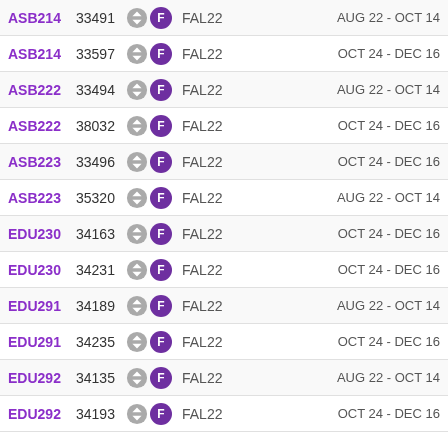| Course | Section | Icons | Term | Dates |
| --- | --- | --- | --- | --- |
| ASB214 | 33491 | swap F | FAL22 | AUG 22 - OCT 14 |
| ASB214 | 33597 | swap F | FAL22 | OCT 24 - DEC 16 |
| ASB222 | 33494 | swap F | FAL22 | AUG 22 - OCT 14 |
| ASB222 | 38032 | swap F | FAL22 | OCT 24 - DEC 16 |
| ASB223 | 33496 | swap F | FAL22 | OCT 24 - DEC 16 |
| ASB223 | 35320 | swap F | FAL22 | AUG 22 - OCT 14 |
| EDU230 | 34163 | swap F | FAL22 | OCT 24 - DEC 16 |
| EDU230 | 34231 | swap F | FAL22 | OCT 24 - DEC 16 |
| EDU291 | 34189 | swap F | FAL22 | AUG 22 - OCT 14 |
| EDU291 | 34235 | swap F | FAL22 | OCT 24 - DEC 16 |
| EDU292 | 34135 | swap F | FAL22 | AUG 22 - OCT 14 |
| EDU292 | 34193 | swap F | FAL22 | OCT 24 - DEC 16 |